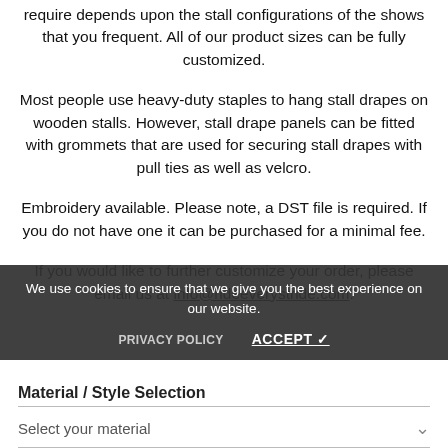require depends upon the stall configurations of the shows that you frequent. All of our product sizes can be fully customized.
Most people use heavy-duty staples to hang stall drapes on wooden stalls. However, stall drape panels can be fitted with grommets that are used for securing stall drapes with pull ties as well as velcro.
Embroidery available. Please note, a DST file is required. If you do not have one it can be purchased for a minimal fee.
If you would like to further customize your order, please email us at info@rideeverystride.com.
We use cookies to ensure that we give you the best experience on our website.
PRIVACY POLICY    ACCEPT ✓
Material / Style Selection
Select your material